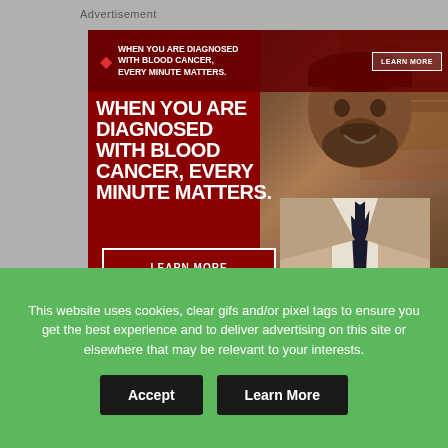Advertisement
[Figure (photo): Leukemia & Lymphoma Society advertisement showing a man (Damion, myeloma survivor) with bold text: WHEN YOU ARE DIAGNOSED WITH BLOOD CANCER, EVERY MINUTE MATTERS. LEARN MORE button. LLS logo at bottom left.]
4) If you wear a wig, it may become dislodged by
This website uses cookies, clear gifs and/or pixel tags to ensure you get the best experience and to deliver advertising on this site or elsewhere that may be relevant to your interests.
Accept
Learn More